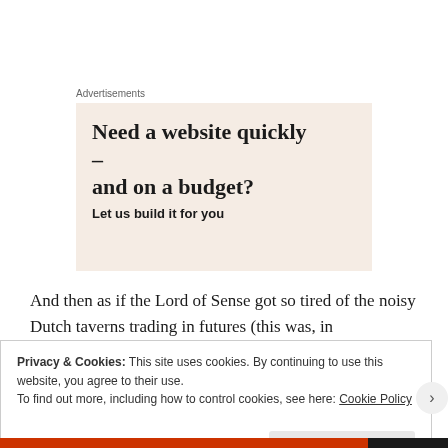Advertisements
[Figure (illustration): Advertisement box with beige/cream background showing text 'Need a website quickly – and on a budget?' with subtitle 'Let us build it for you' and a golden circular shape in the bottom right corner.]
And then as if the Lord of Sense got so tired of the noisy Dutch taverns trading in futures (this was, in
Privacy & Cookies: This site uses cookies. By continuing to use this website, you agree to their use.
To find out more, including how to control cookies, see here: Cookie Policy
Close and accept